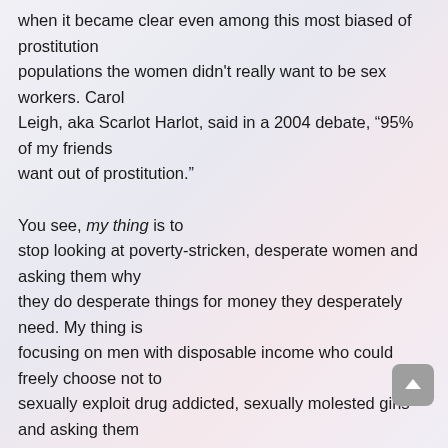when it became clear even among this most biased of prostitution populations the women didn't really want to be sex workers. Carol Leigh, aka Scarlot Harlot, said in a 2004 debate, “95% of my friends want out of prostitution.”

You see, my thing is to stop looking at poverty-stricken, desperate women and asking them why they do desperate things for money they desperately need. My thing is focusing on men with disposable income who could freely choose not to sexually exploit drug addicted, sexually molested girls and asking them why they insist on their “right” to do so.

Your focus on prostituted women is not where the problem lies